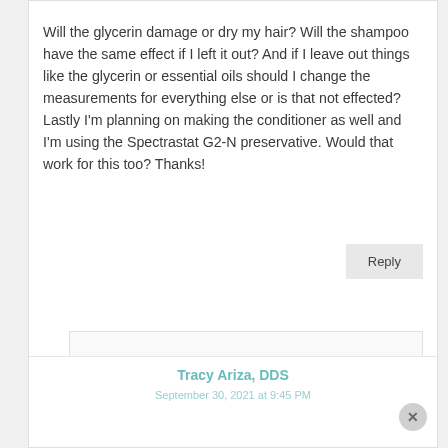Will the glycerin damage or dry my hair? Will the shampoo have the same effect if I left it out? And if I leave out things like the glycerin or essential oils should I change the measurements for everything else or is that not effected? Lastly I'm planning on making the conditioner as well and I'm using the Spectrastat G2-N preservative. Would that work for this too? Thanks!
Reply
Tracy Ariza, DDS
September 30, 2021 at 9:45 PM